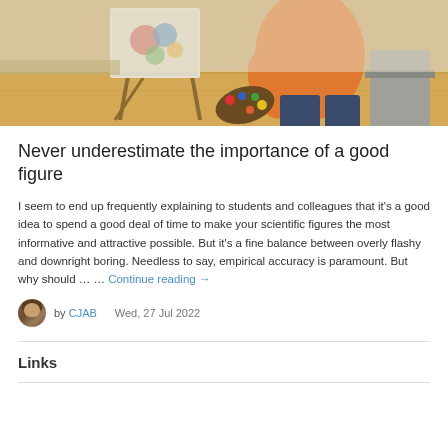[Figure (photo): A person painting on a canvas on an easel, holding a colorful palette with vibrant paints, wearing an orange top and dark jeans, in an art studio setting.]
Never underestimate the importance of a good figure
I seem to end up frequently explaining to students and colleagues that it’s a good idea to spend a good deal of time to make your scientific figures the most informative and attractive possible. But it’s a fine balance between overly flashy and downright boring. Needless to say, empirical accuracy is paramount. But why should … … Continue reading →
by CJAB   Wed, 27 Jul 2022
Links